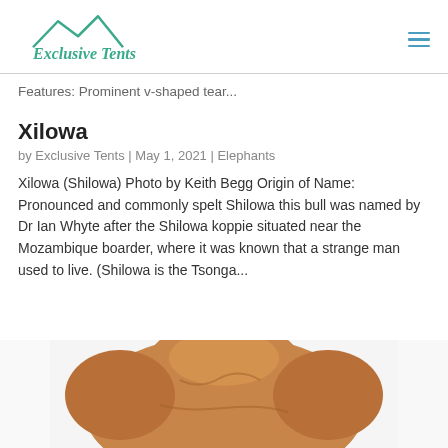Exclusive Tents
Features: Prominent v-shaped tear...
Xilowa
by Exclusive Tents | May 1, 2021 | Elephants
Xilowa (Shilowa) Photo by Keith Begg Origin of Name: Pronounced and commonly spelt Shilowa this bull was named by Dr Ian Whyte after the Shilowa koppie situated near the Mozambique boarder, where it was known that a strange man used to live. (Shilowa is the Tsonga...
[Figure (photo): Photo of an elephant's head/back, warm brown tones, viewed from behind/above, cropped at bottom of page]